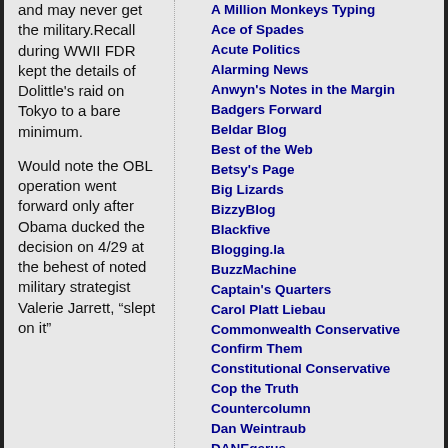and may never get the military. Recall during WWII FDR kept the details of Dolittle's raid on Tokyo to a bare minimum.
Would note the OBL operation went forward only after Obama ducked the decision on 4/29 at the behest of noted military strategist Valerie Jarrett, "slept on it"
A Million Monkeys Typing
Ace of Spades
Acute Politics
Alarming News
Anwyn's Notes in the Margin
Badgers Forward
Beldar Blog
Best of the Web
Betsy's Page
Big Lizards
BizzyBlog
Blackfive
Blogging.la
BuzzMachine
Captain's Quarters
Carol Platt Liebau
Commonwealth Conservative
Confirm Them
Constitutional Conservative
Cop the Truth
Countercolumn
Dan Weintraub
DANEgerus
Dave Barry
Day by Day
Dead Parrot Society
Dean's World
Dispatches from the Culture Wars
Doc Rampage
Don Surber
Donald Luskin